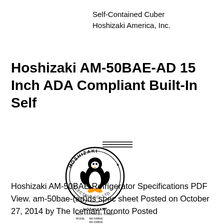Self-Contained Cuber
Hoshizaki America, Inc.
Hoshizaki AM-50BAE-AD 15 Inch ADA Compliant Built-In Self
[Figure (illustration): Hoshizaki Electric Co. Ltd logo with penguin mascot inside circular badge, with horizontal lines above. Below the logo: text reading HOSHIZAKI SELF CONTAINED CUBER, MODEL AM-100BAE AM-150BAE AM-150BWF SERVICE MANUAL]
Hoshizaki AM-50BAE Refrigerator Specifications PDF View. am-50bae-(ad)ds spec sheet Posted on October 27, 2014 by The Iceman Toronto Posted